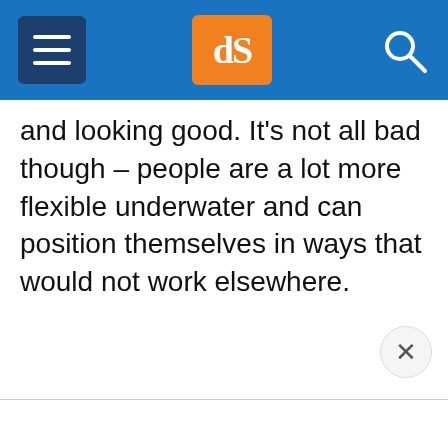dPS navigation header with hamburger menu, dPS logo, and search icon
and looking good. It’s not all bad though – people are a lot more flexible underwater and can position themselves in ways that would not work elsewhere.